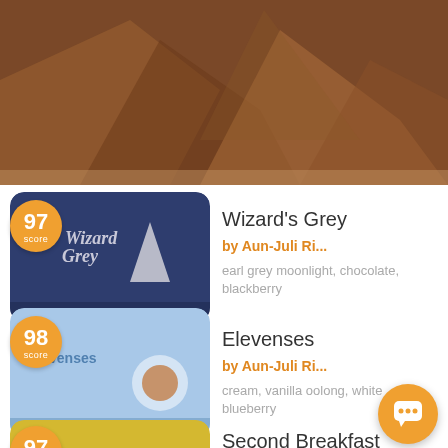[Figure (illustration): Hero banner with brown/tan mountain-like geometric shapes]
[Figure (illustration): Tea tin for Wizard's Grey with score badge 97]
Wizard's Grey
by Aun-Juli Ri...
earl grey moonlight, chocolate, blackberry
[Figure (illustration): Tea tin for Elevenses with score badge 98]
Elevenses
by Aun-Juli Ri...
cream, vanilla oolong, white blueberry
[Figure (illustration): Tea tin for Second Breakfast with score badge 97]
Second Breakfast
by Aun-Juli Ri...